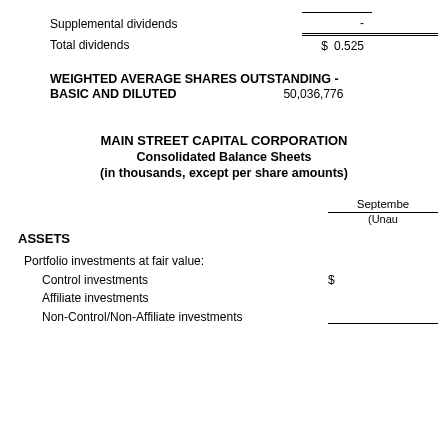|  |  |
| --- | --- |
| Supplemental dividends | - |
| Total dividends | $ 0.525 |
WEIGHTED AVERAGE SHARES OUTSTANDING - BASIC AND DILUTED    50,036,776
MAIN STREET CAPITAL CORPORATION
Consolidated Balance Sheets
(in thousands, except per share amounts)
|  | September (Unau) |
| --- | --- |
| ASSETS |  |
| Portfolio investments at fair value: |  |
| Control investments | $ |
| Affiliate investments |  |
| Non-Control/Non-Affiliate investments |  |